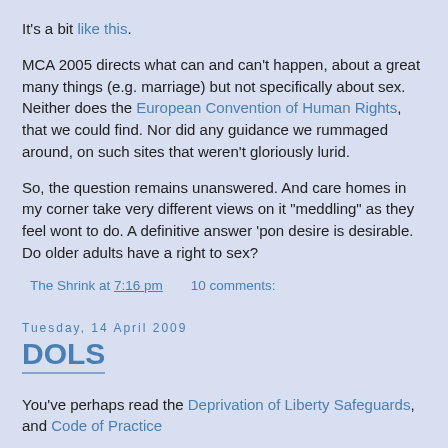It's a bit like this.
MCA 2005 directs what can and can't happen, about a great many things (e.g. marriage) but not specifically about sex. Neither does the European Convention of Human Rights, that we could find. Nor did any guidance we rummaged around, on such sites that weren't gloriously lurid.
So, the question remains unanswered. And care homes in my corner take very different views on it "meddling" as they feel wont to do. A definitive answer 'pon desire is desirable. Do older adults have a right to sex?
The Shrink at 7:16 pm   10 comments:
Tuesday, 14 April 2009
DOLS
You've perhaps read the Deprivation of Liberty Safeguards, and Code of Practice